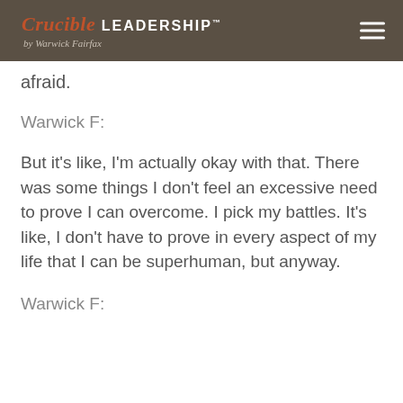Crucible LEADERSHIP™ by Warwick Fairfax
afraid.
Warwick F:
But it's like, I'm actually okay with that. There was some things I don't feel an excessive need to prove I can overcome. I pick my battles. It's like, I don't have to prove in every aspect of my life that I can be superhuman, but anyway.
Warwick F: